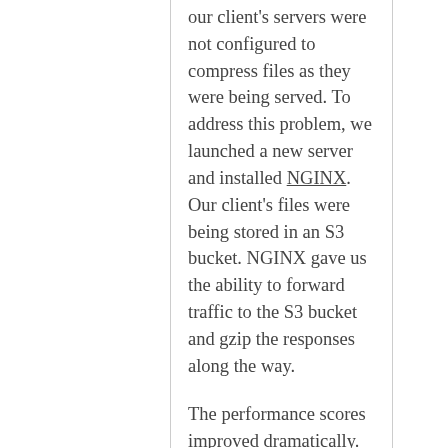our client's servers were not configured to compress files as they were being served. To address this problem, we launched a new server and installed NGINX. Our client's files were being stored in an S3 bucket. NGINX gave us the ability to forward traffic to the S3 bucket and gzip the responses along the way.
The performance scores improved dramatically. Load times on mobile fell from 15 seconds to 2 seconds and the Lighthouse performance score went from 45 / 100 to 98 / 100. Better still, we were able to make these improvements at a minimal cost to our client.
If you have a codebase that seems unmanageable, it isn't always necessary to pay for a complete